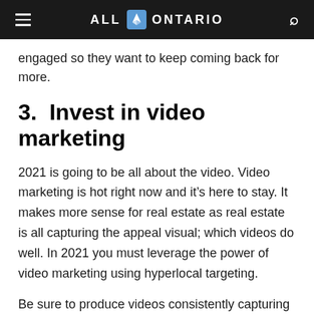ALL ONTARIO
engaged so they want to keep coming back for more.
3.  Invest in video marketing
2021 is going to be all about the video. Video marketing is hot right now and it’s here to stay. It makes more sense for real estate as real estate is all capturing the appeal visual; which videos do well. In 2021 you must leverage the power of video marketing using hyperlocal targeting.
Be sure to produce videos consistently capturing the neighborhoods that you represent. In videos, you can cover different aspects of living in that area such as lifestyle, entertainment, housing features, and other perks of living.